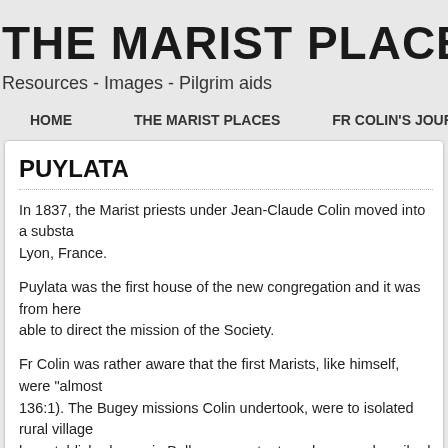THE MARIST PLACES
Resources - Images - Pilgrim aids
HOME   THE MARIST PLACES   FR COLIN'S JOURNEYS TO...
PUYLATA
In 1837, the Marist priests under Jean-Claude Colin moved into a substa... Lyon, France.
Puylata was the first house of the new congregation and it was from here... able to direct the mission of the Society.
Fr Colin was rather aware that the first Marists, like himself, were "almost... 136:1). The Bugey missions Colin undertook, were to isolated rural village... he established were in Belley, a country town he once described as "a co...
Puylata...